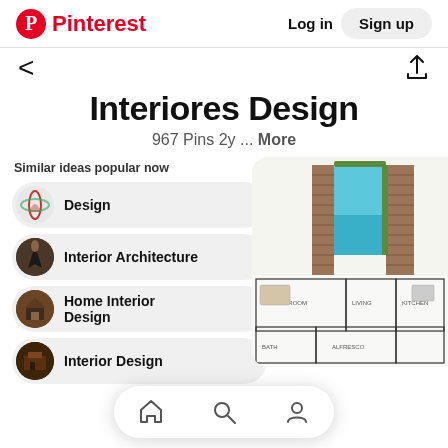Pinterest  Log in  Sign up
< (back arrow) and share icon
Interiores Design
967 Pins 2y ... More
Similar ideas popular now
Design
Interior Architecture
Home Interior Design
Interior Design
[Figure (screenshot): Floor plan top-down view with pool, wooden deck, and room layout]
[Figure (other): Bottom navigation bar with home, search, and profile icons]